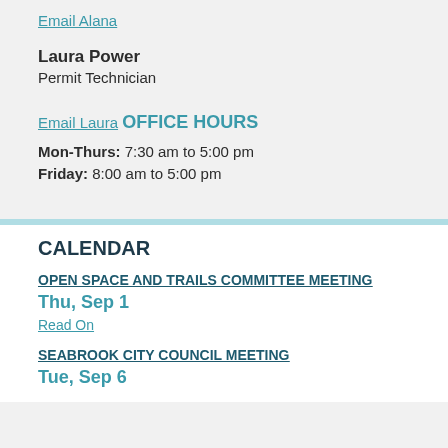Email Alana
Laura Power
Permit Technician
Email Laura
OFFICE HOURS
Mon-Thurs: 7:30 am to 5:00 pm
Friday: 8:00 am to 5:00 pm
CALENDAR
OPEN SPACE AND TRAILS COMMITTEE MEETING
Thu, Sep 1
Read On
SEABROOK CITY COUNCIL MEETING
Tue, Sep 6